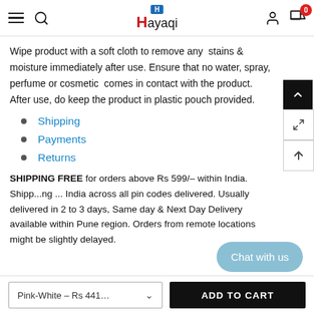Hayaqi
Wipe product with a soft cloth to remove any stains & moisture immediately after use. Ensure that no water, spray, perfume or cosmetic comes in contact with the product. After use, do keep the product in plastic pouch provided.
Shipping
Payments
Returns
SHIPPING FREE for orders above Rs 599/– within India. Shipping in India across all pin codes delivered. Usually delivered in 2 to 3 days, Same day & Next Day Delivery available within Pune region. Orders from remote locations might be slightly delayed.